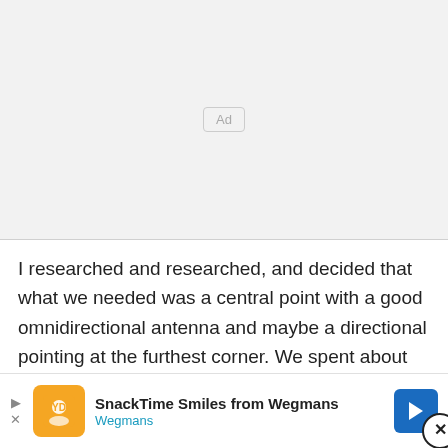[Figure (other): Advertisement placeholder box with light gray background and 'Ad' label in center]
I researched and researched, and decided that what we needed was a central point with a good omnidirectional antenna and maybe a directional pointing at the furthest corner. We spent about $60 for an 8dBi Omni from [partially obscured]hnologies. We hooked it up...
[Figure (infographic): SnackTime Smiles from Wegmans advertisement banner with orange icon, bold title text, Wegmans subtitle in blue, and blue navigation arrow icon. Play and close buttons on left.]